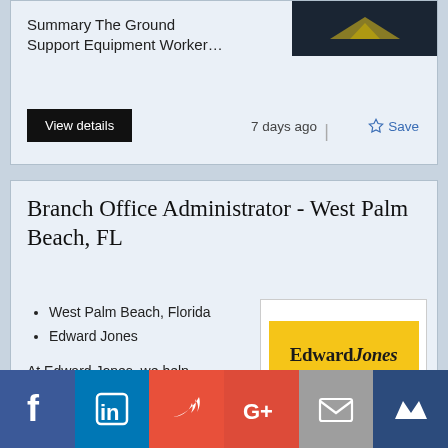Summary The Ground Support Equipment Worker…
View details
7 days ago
Save
Branch Office Administrator - West Palm Beach, FL
West Palm Beach, Florida
Edward Jones
At Edward Jones, we help clients achieve their seriou…
[Figure (logo): Edward Jones logo on yellow background]
View details
[Figure (infographic): Social media sharing bar with Facebook, LinkedIn, Twitter, Google+, Email, and crown icon buttons]